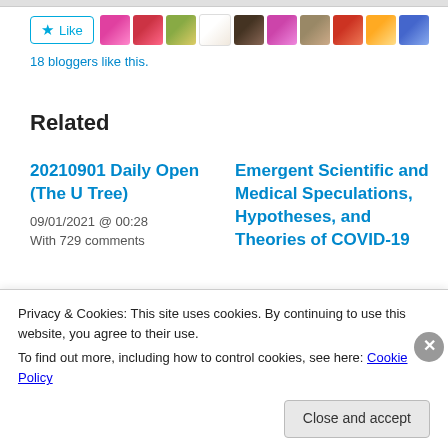[Figure (screenshot): Like button with star icon, followed by a strip of blogger avatar thumbnails]
18 bloggers like this.
Related
20210901 Daily Open (The U Tree)
09/01/2021 @ 00:28
With 729 comments
Emergent Scientific and Medical Speculations, Hypotheses, and Theories of COVID-19
Privacy & Cookies: This site uses cookies. By continuing to use this website, you agree to their use.
To find out more, including how to control cookies, see here: Cookie Policy
Close and accept